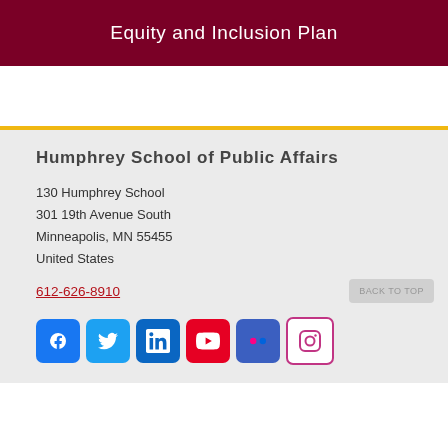Equity and Inclusion Plan
Humphrey School of Public Affairs
130 Humphrey School
301 19th Avenue South
Minneapolis, MN 55455
United States
612-626-8910
[Figure (other): Social media icons: Facebook, Twitter, LinkedIn, YouTube, Flickr, Instagram]